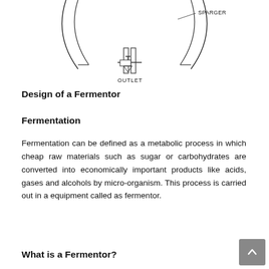[Figure (engineering-diagram): Partial cross-section diagram of a fermentor vessel showing the top/side wall curves, a sparger labeled 'SPARGER' at top right, a central outlet pipe with valve labeled 'OUTLET' at the bottom center.]
Design of a Fermentor
Fermentation
Fermentation can be defined as a metabolic process in which cheap raw materials such as sugar or carbohydrates are converted into economically important products like acids, gases and alcohols by micro-organism. This process is carried out in a equipment called as fermentor.
What is a Fermentor?